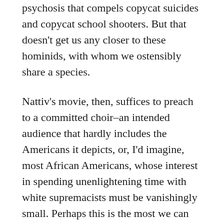psychosis that compels copycat suicides and copycat school shooters. But that doesn’t get us any closer to these hominids, with whom we ostensibly share a species.
Nattiv’s movie, then, suffices to preach to a committed choir–an intended audience that hardly includes the Americans it depicts, or, I’d imagine, most African Americans, whose interest in spending unenlightening time with white supremacists must be vanishingly small. Perhaps this is the most we can expect for now–films about racism that tell us, over and over again, how very bad it is. We still wait for the film that cuts deeper.
Now in theaters and on demand via iTunes,